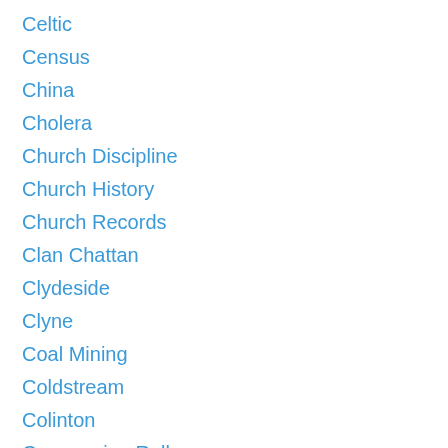Celtic
Census
China
Cholera
Church Discipline
Church History
Church Records
Clan Chattan
Clydeside
Clyne
Coal Mining
Coldstream
Colinton
Communion Rolls
Convicts
Costume History
Counties
Coupar Angus
Crail
Crime
Cumbernauld